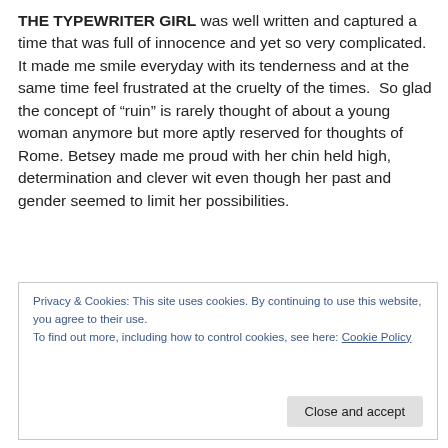THE TYPEWRITER GIRL was well written and captured a time that was full of innocence and yet so very complicated.  It made me smile everyday with its tenderness and at the same time feel frustrated at the cruelty of the times.  So glad the concept of “ruin” is rarely thought of about a young woman anymore but more aptly reserved for thoughts of Rome. Betsey made me proud with her chin held high, determination and clever wit even though her past and gender seemed to limit her possibilities.
Privacy & Cookies: This site uses cookies. By continuing to use this website, you agree to their use.
To find out more, including how to control cookies, see here: Cookie Policy